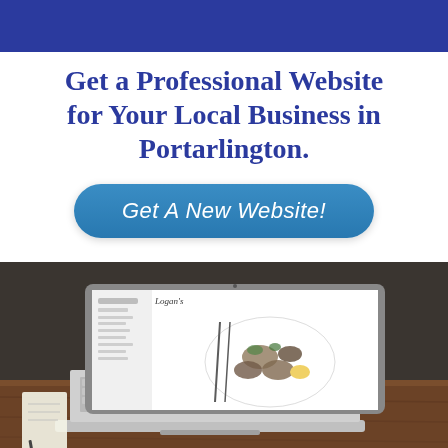[Figure (other): Blue banner header background]
Get a Professional Website for Your Local Business in Portarlington.
Get A New Website!
[Figure (photo): Photo of a MacBook laptop on a wooden table displaying a restaurant website with seafood dish]